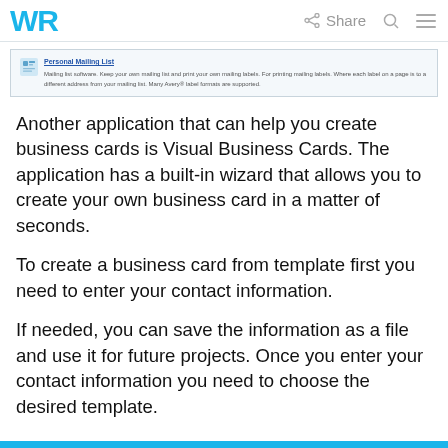WR  Share
[Figure (screenshot): Screenshot of Personal Mailing List software listing with icon and description text about mailing list software, keeping mailing list and printing mailing labels, supporting Avery label formats.]
Another application that can help you create business cards is Visual Business Cards. The application has a built-in wizard that allows you to create your own business card in a matter of seconds.
To create a business card from template first you need to enter your contact information.
If needed, you can save the information as a file and use it for future projects. Once you enter your contact information you need to choose the desired template.